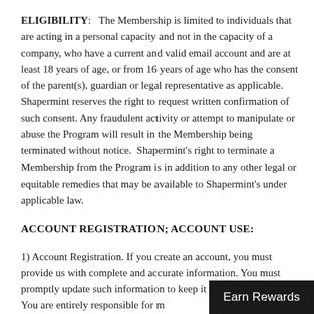ELIGIBILITY:   The Membership is limited to individuals that are acting in a personal capacity and not in the capacity of a company, who have a current and valid email account and are at least 18 years of age, or from 16 years of age who has the consent of the parent(s), guardian or legal representative as applicable. Shapermint reserves the right to request written confirmation of such consent. Any fraudulent activity or attempt to manipulate or abuse the Program will result in the Membership being terminated without notice.  Shapermint's right to terminate a Membership from the Program is in addition to any other legal or equitable remedies that may be available to Shapermint's under applicable law.
ACCOUNT REGISTRATION; ACCOUNT USE:
1) Account Registration. If you create an account, you must provide us with complete and accurate information. You must promptly update such information to keep it current and accurate. You are entirely responsible for m